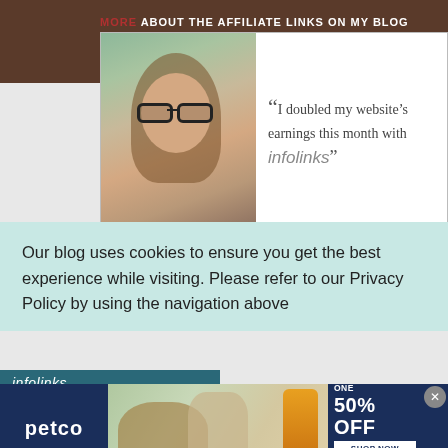MORE ABOUT THE AFFILIATE LINKS ON MY BLOG PLEASE READ MY PRIVACY POLICY BY CLICKING HERE. THANK YOU FOR ALL OF YOUR SUPPORT.
[Figure (screenshot): Infolinks advertisement with a woman's photo and quote: 'I doubled my website's earnings this month with infolinks']
Our blog uses cookies to ensure you get the best experience while visiting. Please refer to our Privacy Policy by using the navigation above
[Figure (screenshot): Petco advertisement: BUY ONE, GET ONE 50% OFF. Help support your dog's joints with a premium supplement. SHOP NOW button. Shows a woman with a golden retriever and supplement bottle.]